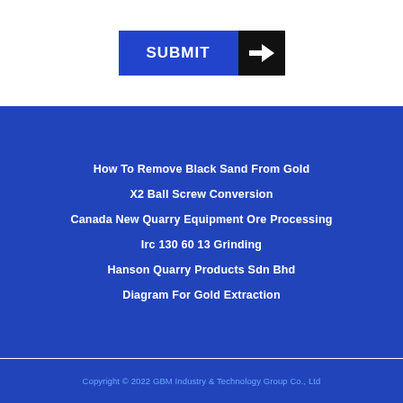[Figure (other): White input/form area at top with pencil/edit icon in top right corner]
[Figure (other): Blue SUBMIT button with black arrow icon on the right side]
How To Remove Black Sand From Gold
X2 Ball Screw Conversion
Canada New Quarry Equipment Ore Processing
Irc 130 60 13 Grinding
Hanson Quarry Products Sdn Bhd
Diagram For Gold Extraction
Copyright © 2022 GBM Industry & Technology Group Co., Ltd